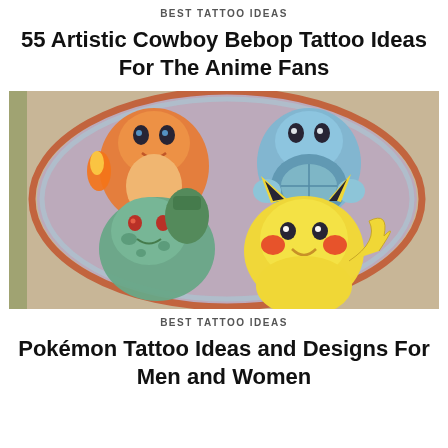BEST TATTOO IDEAS
55 Artistic Cowboy Bebop Tattoo Ideas For The Anime Fans
[Figure (photo): Colorful tattoo on skin featuring four Pokémon characters: Charmander (orange, top left), Squirtle (blue, top right), Bulbasaur (green/teal, bottom left), and Pikachu (yellow, bottom right), arranged in a circular decorative frame with purple and red border elements.]
BEST TATTOO IDEAS
Pokémon Tattoo Ideas and Designs For Men and Women